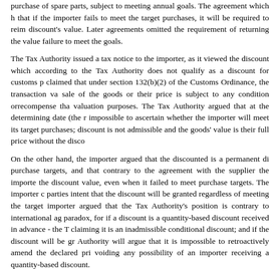purchase of spare parts, subject to meeting annual goals. The agreement which that if the importer fails to meet the target purchases, it will be required to reim discount's value. Later agreements omitted the requirement of returning the value failure to meet the goals.
The Tax Authority issued a tax notice to the importer, as it viewed the discount which according to the Tax Authority does not qualify as a discount for customs p claimed that under section 132(b)(2) of the Customs Ordinance, the transaction va sale of the goods or their price is subject to any condition orrecompense tha valuation purposes. The Tax Authority argued that at the determining date (the r impossible to ascertain whether the importer will meet its target purchases; discount is not admissible and the goods' value is their full price without the disco.
On the other hand, the importer argued that the discounted is a permanent di purchase targets, and that contrary to the agreement with the supplier the importe the discount value, even when it failed to meet purchase targets. The importer c parties intent that the discount will be granted regardless of meeting the target importer argued that the Tax Authority's position is contrary to international ag paradox, for if a discount is a quantity-based discount received in advance - the T claiming it is an inadmissible conditional discount; and if the discount will be gr Authority will argue that it is impossible to retroactively amend the declared pri voiding any possibility of an importer receiving a quantity-based discount.
The court ruled in favor of the importer, rejecting the Tax Authority's position.
In its ruling, the court offered a detailed analysis of the both the factual aspect (v conditional discount in this case) and the principal legal aspect (is a conditional c principal legal aspect, the important aspect for our purposes, the court ruled in fa that if the discount was indeed conditional, and the importer would have been req